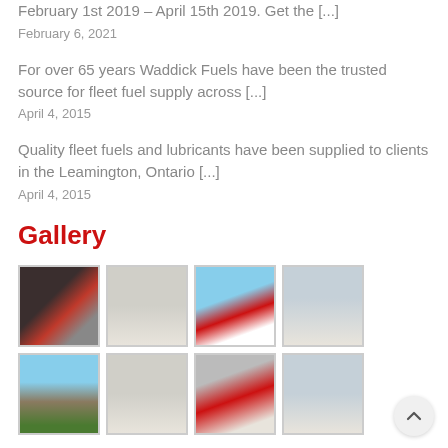February 1st 2019 – April 15th 2019. Get the [...]
February 6, 2021
For over 65 years Waddick Fuels have been the trusted source for fleet fuel supply across [...]
April 4, 2015
Quality fleet fuels and lubricants have been supplied to clients in the Leamington, Ontario [...]
April 4, 2015
Gallery
[Figure (photo): Grid of 8 thumbnail photos showing fuel trucks, a Petro sign, fuel dispensers, and industrial facilities related to Waddick Fuels.]